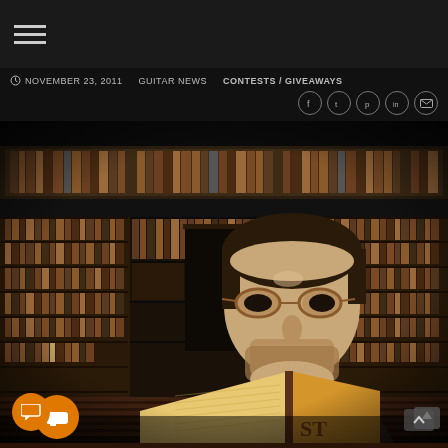≡ (hamburger menu icon)
⊙ NOVEMBER 23, 2011   GUITAR NEWS   CONTESTS / GIVEAWAYS
[Figure (photo): Man with glasses holding open book in front of large library with multiple levels of bookshelves]